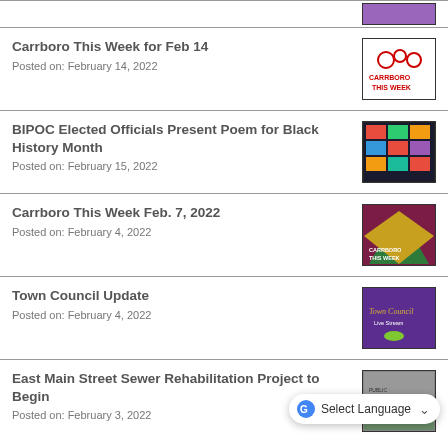[Figure (screenshot): Purple/violet thumbnail image partially visible at top]
Carrboro This Week for Feb 14
Posted on: February 14, 2022
BIPOC Elected Officials Present Poem for Black History Month
Posted on: February 15, 2022
Carrboro This Week Feb. 7, 2022
Posted on: February 4, 2022
Town Council Update
Posted on: February 4, 2022
East Main Street Sewer Rehabilitation Project to Begin
Posted on: February 3, 2022